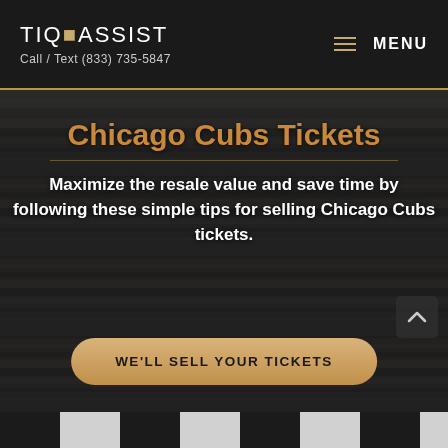TIQASSIST — Call / Text (833) 735-5847 — MENU
Chicago Cubs Tickets
Maximize the resale value and save time by following these simple tips for selling Chicago Cubs tickets.
WE'LL SELL YOUR TICKETS